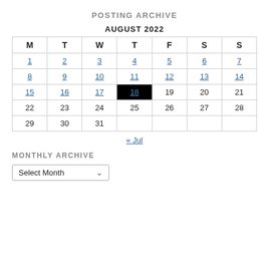POSTING ARCHIVE
AUGUST 2022
| M | T | W | T | F | S | S |
| --- | --- | --- | --- | --- | --- | --- |
| 1 | 2 | 3 | 4 | 5 | 6 | 7 |
| 8 | 9 | 10 | 11 | 12 | 13 | 14 |
| 15 | 16 | 17 | 18 | 19 | 20 | 21 |
| 22 | 23 | 24 | 25 | 26 | 27 | 28 |
| 29 | 30 | 31 |  |  |  |  |
« Jul
MONTHLY ARCHIVE
Select Month